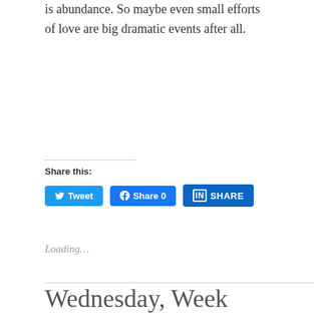is abundance. So maybe even small efforts of love are big dramatic events after all.
Share this:
[Figure (other): Social share buttons: Tweet (Twitter), Share 0 (Facebook), SHARE (LinkedIn)]
Loading...
Wednesday, Week Eleven, Ordinary Time